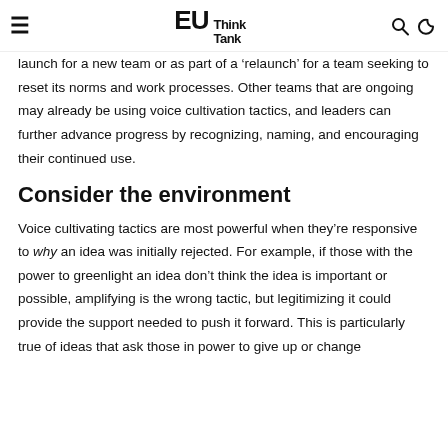≡  EU Think Tank  🔍  🌙
launch for a new team or as part of a 'relaunch' for a team seeking to reset its norms and work processes. Other teams that are ongoing may already be using voice cultivation tactics, and leaders can further advance progress by recognizing, naming, and encouraging their continued use.
Consider the environment
Voice cultivating tactics are most powerful when they're responsive to why an idea was initially rejected. For example, if those with the power to greenlight an idea don't think the idea is important or possible, amplifying is the wrong tactic, but legitimizing it could provide the support needed to push it forward. This is particularly true of ideas that ask those in power to give up or change